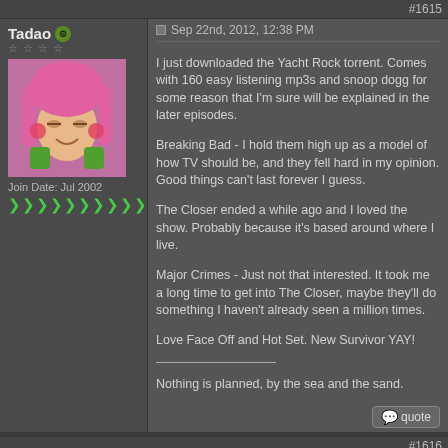#1615
Tadao
Join Date: Jul 2002
Sep 22nd, 2012, 12:38 PM
I just downloaded the Yacht Rock torrent. Comes with 160 easy listening mp3s and snoop dogg for some reason that I'm sure will be explained in the later episodes.

Breaking Bad - I hold them high up as a model of how TV should be, and they fell hard in my opinion. Good things can't last forever I guess.

The Closer ended a while ago and I loved the show. Probably because it's based around where I live.

Major Crimes - Just not that interested. It took me a long time to get into The Closer, maybe they'll do something I haven't already seen a million times.

Love Face Off and Hot Set. New Survivor YAY!

Nothing is planned, by the sea and the sand.
#1616
k0k0
The Glum Cunt
Sep 22nd, 2012, 04:48 PM
Eat a butt. Breaking Bad is as good as ever in my opinion.